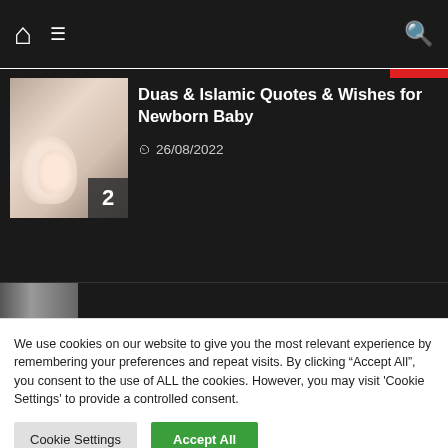Navigation bar with home icon, menu icon, and search icon
Duas & Islamic Quotes & Wishes for Newborn Baby
26/08/2022
[Figure (photo): Thumbnail photo of a newborn baby's hand with number badge 2 in bottom right corner]
We use cookies on our website to give you the most relevant experience by remembering your preferences and repeat visits. By clicking "Accept All", you consent to the use of ALL the cookies. However, you may visit 'Cookie Settings' to provide a controlled consent.